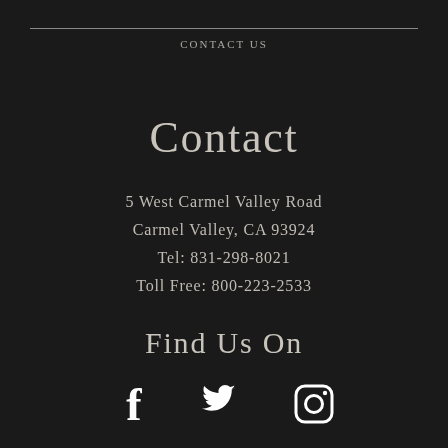Contact Us
Contact
5 West Carmel Valley Road
Carmel Valley, CA 93924
Tel: 831-298-8021
Toll Free: 800-223-2533
Find Us On
[Figure (illustration): Three social media icons in white: Facebook (f), Twitter (bird), Instagram (camera outline)]